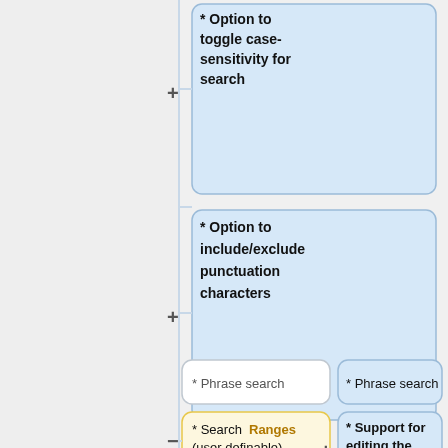[Figure (flowchart): Partial flowchart/comparison diagram showing feature boxes. Top-right area has blue highlighted boxes: '* Option to toggle case-sensitivity for search', '* Option to include/exclude punctuation characters', '* Multiword search with a user-defined maximum number of intervening words'. Below are side-by-side boxes: '* Phrase search' (white, left) and '* Phrase search' (blue, right). Then '* Search Ranges (user definable)' (yellow, left) and '* Support for editing the search term for languages that...' (blue, right). Plus and minus connectors appear between columns.]